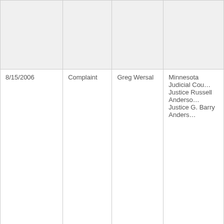| Date | Type | Complainant | Respondent |
| --- | --- | --- | --- |
|  |  |  |  |
| 8/15/2006 | Complaint | Greg Wersal | Minnesota Judicial Cou…
Justice Russell Anderso…
Justice G. Barry Anders… |
| 8/15/2006 | Staff review |  | Minnesotans for Matt (Entenza) |
| 8/15/2006 | Complaint | Minnesota Citizens in | OutFront Minnesota |